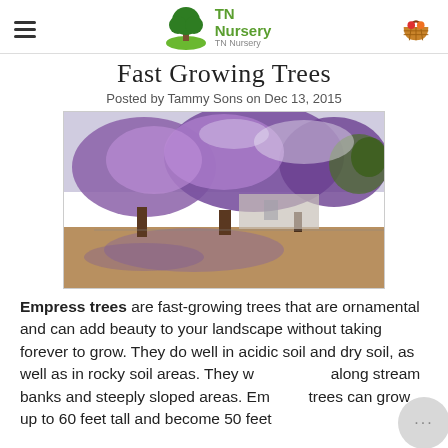TN Nursery
Fast Growing Trees
Posted by Tammy Sons on Dec 13, 2015
[Figure (photo): Jacaranda trees with purple blooms in an open landscape]
Empress trees are fast-growing trees that are ornamental and can add beauty to your landscape without taking forever to grow. They do well in acidic soil and dry soil, as well as in rocky soil areas. They w... along stream banks and steeply sloped areas. Em... trees can grow up to 60 feet tall and become 50 feet ...